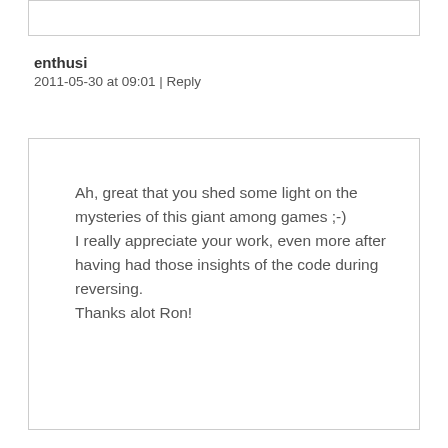enthusi
2011-05-30 at 09:01 | Reply
Ah, great that you shed some light on the mysteries of this giant among games ;-)
I really appreciate your work, even more after having had those insights of the code during reversing.
Thanks alot Ron!